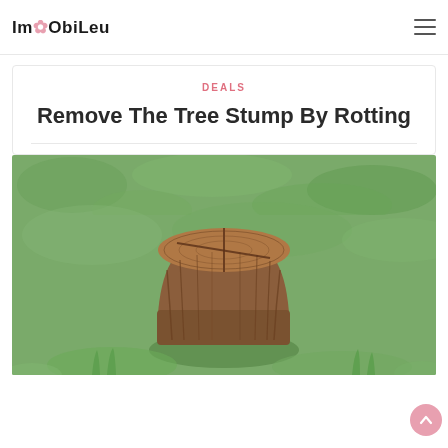ImObiLeu
DEALS
Remove The Tree Stump By Rotting
[Figure (photo): A tree stump with a cross-cut pattern on top, surrounded by green grass, photographed outdoors.]